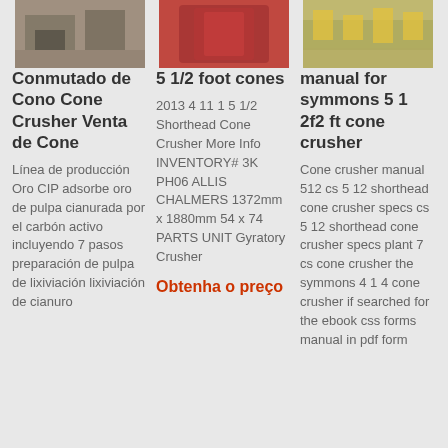[Figure (photo): Thumbnail photo of crusher/mining equipment, dark/industrial scene]
[Figure (photo): Thumbnail photo of red cone crusher machine]
[Figure (photo): Thumbnail photo of yellow mining equipment]
Conmutado de Cono Cone Crusher Venta de Cone
5 1/2 foot cones
manual for symmons 5 1 2f2 ft cone crusher
Línea de producción Oro CIP adsorbe oro de pulpa cianurada por el carbón activo incluyendo 7 pasos preparación de pulpa de lixiviación lixiviación de cianuro
2013 4 11 1 5 1/2 Shorthead Cone Crusher More Info INVENTORY# 3K PH06 ALLIS CHALMERS 1372mm x 1880mm 54 x 74 PARTS UNIT Gyratory Crusher
Obtenha o preço
Cone crusher manual 512 cs 5 12 shorthead cone crusher specs cs 5 12 shorthead cone crusher specs plant 7 cs cone crusher the symmons 4 1 4 cone crusher if searched for the ebook css forms manual in pdf form